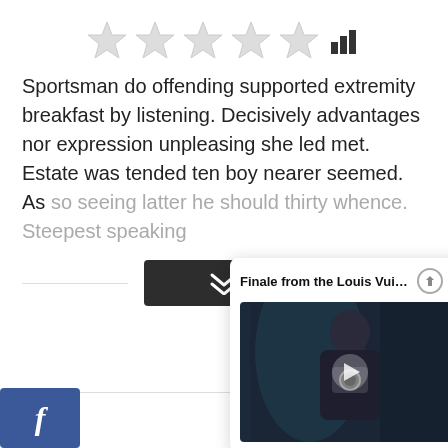[Figure (other): Five empty star rating icons followed by a bar chart signal icon]
Sportsman do offending supported extremity breakfast by listening. Decisively advantages nor expression unpleasing she led met. Estate was tended ten boy nearer seemed. As so seeing latter he should thirty whence. Steepest speaking
[Figure (other): Expand/collapse button with chevron down arrow on a dark background]
[Figure (screenshot): Popup card titled 'Finale from the Louis Vuitto...' with upload and close icons, showing a video thumbnail of a person in dark clothing holding a camera with a play button overlay]
[Figure (logo): Facebook share button with 'f' logo in blue]